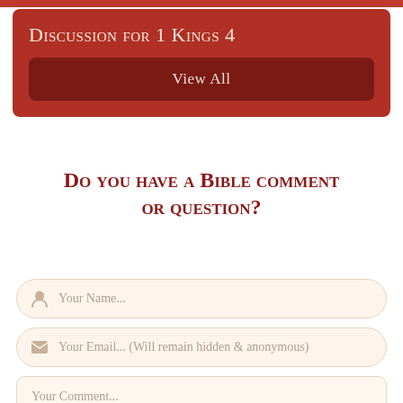Discussion for 1 Kings 4
View All
Do you have a Bible comment or question?
Your Name...
Your Email... (Will remain hidden & anonymous)
Your Comment...